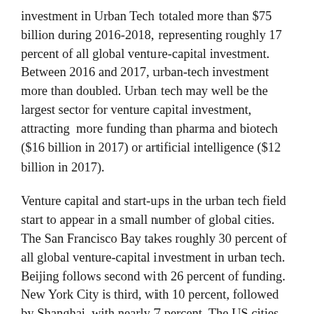investment in Urban Tech totaled more than $75 billion during 2016-2018, representing roughly 17 percent of all global venture-capital investment. Between 2016 and 2017, urban-tech investment more than doubled. Urban tech may well be the largest sector for venture capital investment, attracting more funding than pharma and biotech ($16 billion in 2017) or artificial intelligence ($12 billion in 2017).
Venture capital and start-ups in the urban tech field start to appear in a small number of global cities. The San Francisco Bay takes roughly 30 percent of all global venture-capital investment in urban tech. Beijing follows second with 26 percent of funding. New York City is third, with 10 percent, followed by Shanghai, with nearly 7 percent. The US cities produce many more urban-tech startups than Shanghai and Beijing.
Singapore accounts 6 percent of all investment, trailed by Bangalore, Los Angeles, Berlin, and London, the only other